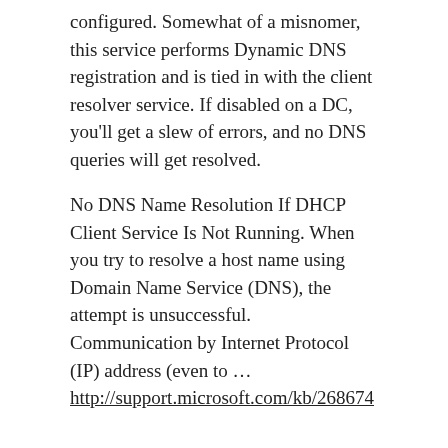configured. Somewhat of a misnomer, this service performs Dynamic DNS registration and is tied in with the client resolver service. If disabled on a DC, you'll get a slew of errors, and no DNS queries will get resolved.
No DNS Name Resolution If DHCP Client Service Is Not Running. When you try to resolve a host name using Domain Name Service (DNS), the attempt is unsuccessful. Communication by Internet Protocol (IP) address (even to … http://support.microsoft.com/kb/268674
Windows Vista/2008 and newer, the DNS Client service is now responsible for Dynamic Updates
This is true in the Windows Vista, Windows 2008...